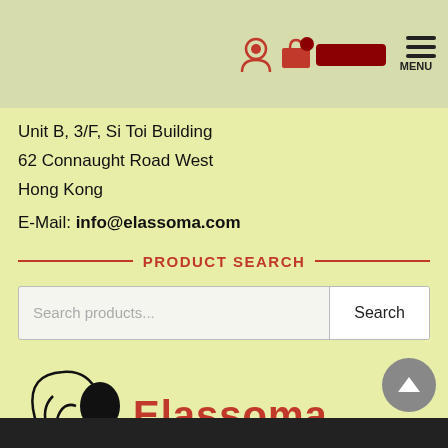Navigation header with user, cart, and menu icons
Unit B, 3/F, Si Toi Building
62 Connaught Road West
Hong Kong
E-Mail: info@elassoma.com
PRODUCT SEARCH
Search products...
[Figure (logo): Elassoma Jewellery Shop logo with stylized woman silhouette and script text]